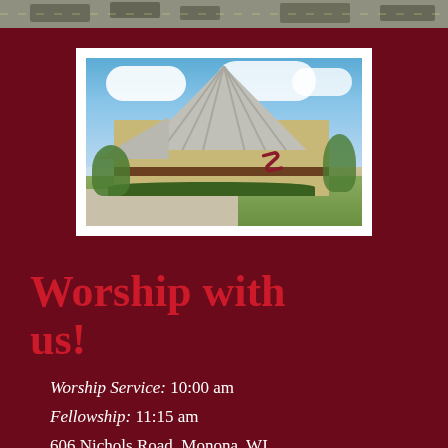[Figure (photo): Aerial view of parking lot visible at top strip]
[Figure (photo): Exterior photo of a United Methodist church building with triangular metal roof, beige/tan siding, UMC cross-and-flame symbol, blue sky with clouds, and green landscaping. Building located at 606 Nichols Road, Monona, WI.]
Worship with us!
Worship Service: 10:00 am
Fellowship: 11:15 am
606 Nichols Road, Monona, WI